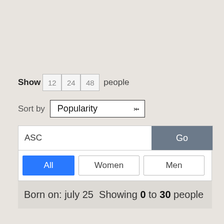Show 12 24 48 people
Sort by Popularity
ASC Go
All Women Men
Born on: july 25 Showing 0 to 30 people